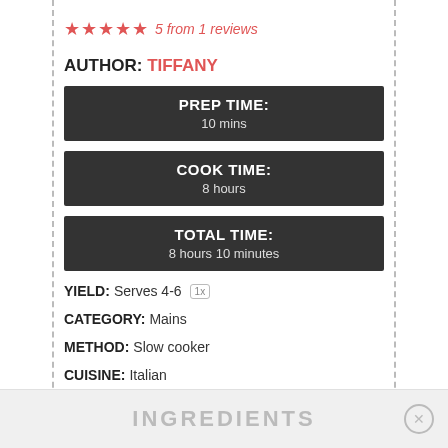★★★★★ 5 from 1 reviews
AUTHOR: TIFFANY
| PREP TIME: | 10 mins |
| COOK TIME: | 8 hours |
| TOTAL TIME: | 8 hours 10 minutes |
YIELD: Serves 4-6 [1x]
CATEGORY: Mains
METHOD: Slow cooker
CUISINE: Italian
INGREDIENTS